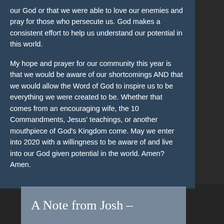our God or that we were able to love our enemies and pray for those who persecute us. God makes a consistent effort to help us understand our potential in this world.
My hope and prayer for our community this year is that we would be aware of our shortcomings AND that we would allow the Word of God to inspire us to be everything we were created to be. Whether that comes from an encouraging wife, the 10 Commandments, Jesus' teachings, or another mouthpiece of God's Kingdom come. May we enter into 2020 with a willingness to be aware of and live into our God given potential in the world. Amen? Amen.
A Note from Josh –